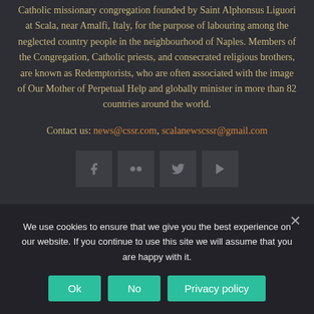Catholic missionary congregation founded by Saint Alphonsus Liguori at Scala, near Amalfi, Italy, for the purpose of labouring among the neglected country people in the neighbourhood of Naples. Members of the Congregation, Catholic priests, and consecrated religious brothers, are known as Redemptorists, who are often associated with the image of Our Mother of Perpetual Help and globally minister in more than 82 countries around the world.
Contact us: news@cssr.com, scalanewscssr@gmail.com
[Figure (infographic): Four social media icon buttons: Facebook (f), Flickr (dots), Twitter (bird), YouTube (play button)]
You can search information by typing in keywords or phrases...
We use cookies to ensure that we give you the best experience on our website. If you continue to use this site we will assume that you are happy with it.